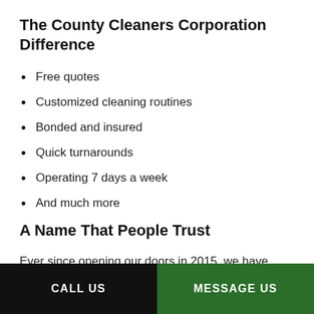The County Cleaners Corporation Difference
Free quotes
Customized cleaning routines
Bonded and insured
Quick turnarounds
Operating 7 days a week
And much more
A Name That People Trust
Ever since opening our doors in 2015, we have dedicated ourselves to providing our best work on every job. We now service over 100 regular clients who trust us with all of their